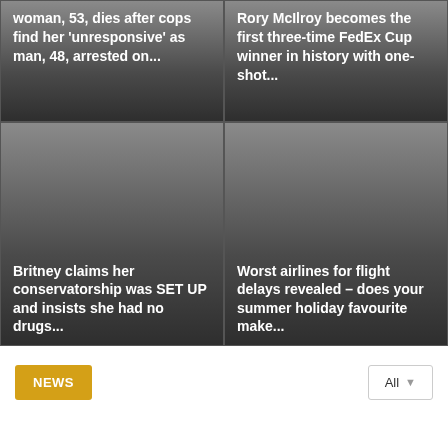woman, 53, dies after cops find her 'unresponsive' as man, 48, arrested on...
Rory McIlroy becomes the first three-time FedEx Cup winner in history with one-shot...
Britney claims her conservatorship was SET UP and insists she had no drugs...
Worst airlines for flight delays revealed – does your summer holiday favourite make...
NEWS
All